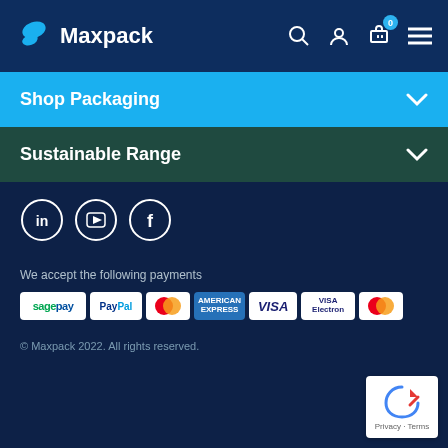Maxpack
Shop Packaging
Sustainable Range
[Figure (other): Social media icons: LinkedIn, YouTube, Facebook in circular outlines on dark navy background]
We accept the following payments
[Figure (other): Payment method logos: Sage Pay, PayPal, Mastercard, American Express, Visa, Visa Electron, Mastercard]
© Maxpack 2022. All rights reserved.
[Figure (other): Google reCAPTCHA badge showing Privacy and Terms links]